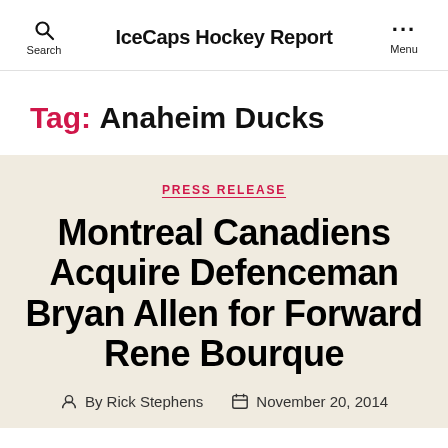IceCaps Hockey Report
Tag: Anaheim Ducks
PRESS RELEASE
Montreal Canadiens Acquire Defenceman Bryan Allen for Forward Rene Bourque
By Rick Stephens  November 20, 2014